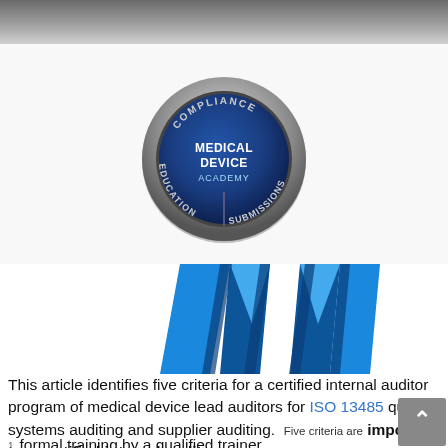[Figure (logo): Medical Device Academy circular badge/medal with text: COMPLIANCE, MEDICAL DEVICE ACADEMY, EDUCATION, SUBMISSIONS on metallic ring with blue center]
[Figure (illustration): Blue award ribbon/rosette decoration showing the top ribbon tails in bright blue with dark blue stripe accents]
This article identifies five criteria for a certified internal auditor program of medical device lead auditors for ISO 13485 quality systems auditing and supplier auditing. Five criteria are important to a certified internal auditor program:
formal training by a qualified trainer